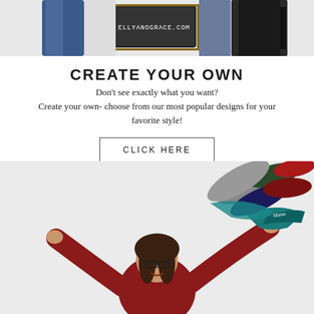[Figure (photo): Top photo showing two people standing with clothing and a chalkboard sign reading ELLYANOGRACE.COM]
CREATE YOUR OWN
Don't see exactly what you want?
Create your own- choose from our most popular designs for your favorite style!
CLICK HERE
[Figure (photo): Woman in red hoodie with arms raised, tossing colorful folded clothes into the air]